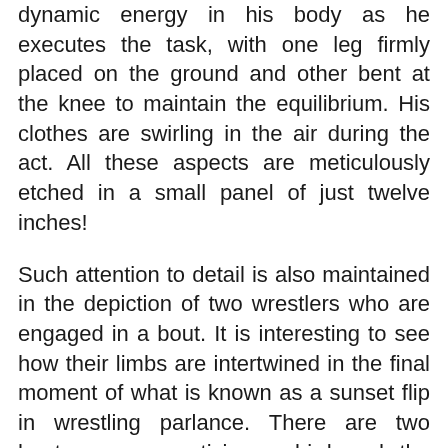dynamic energy in his body as he executes the task, with one leg firmly placed on the ground and other bent at the knee to maintain the equilibrium. His clothes are swirling in the air during the act. All these aspects are meticulously etched in a small panel of just twelve inches!
Such attention to detail is also maintained in the depiction of two wrestlers who are engaged in a bout. It is interesting to see how their limbs are intertwined in the final moment of what is known as a sunset flip in wrestling parlance. There are two hunters, once enticing a bird and the other one hunting down a tiger with a